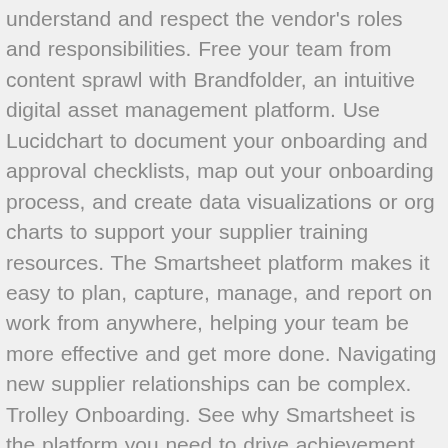understand and respect the vendor's roles and responsibilities. Free your team from content sprawl with Brandfolder, an intuitive digital asset management platform. Use Lucidchart to document your onboarding and approval checklists, map out your onboarding process, and create data visualizations or org charts to support your supplier training resources. The Smartsheet platform makes it easy to plan, capture, manage, and report on work from anywhere, helping your team be more effective and get more done. Navigating new supplier relationships can be complex. Trolley Onboarding. See why Smartsheet is the platform you need to drive achievement, no matter the scale of your ambition. For example, the retailer Walmart has over 100,000 vendors and consumer goods giant Proctor and Gamble has over 75,000. Be sure to gather the following data for each vendor: Once you have gathered all necessary data, be sure to share it with all involved stakeholders. Click below to learn more about the other essential elements of a third party vendor risk management framework. Onboarding SOP. Jump-start new projects and processes with our pre-built sets of templates, add-ons, and